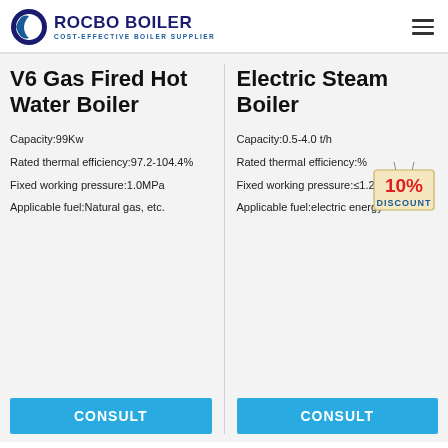ROCBO BOILER — COST-EFFECTIVE BOILER SUPPLIER
V6 Gas Fired Hot Water Boiler
Capacity:99Kw
Rated thermal efficiency:97.2-104.4%
Fixed working pressure:1.0MPa
Applicable fuel:Natural gas, etc.
Electric Steam Boiler
Capacity:0.5-4.0 t/h
Rated thermal efficiency:%
Fixed working pressure:≤1.25MPa
Applicable fuel:electric energy
[Figure (other): 10% DISCOUNT badge/sticker overlaid on text]